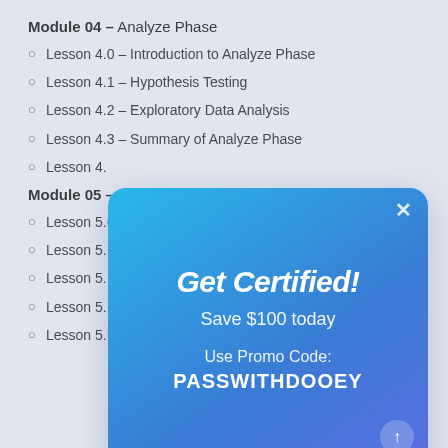Module 04 – Analyze Phase
Lesson 4.0 – Introduction to Analyze Phase
Lesson 4.1 – Hypothesis Testing
Lesson 4.2 – Exploratory Data Analysis
Lesson 4.3 – Summary of Analyze Phase
Lesson 4.4 – [partially obscured]
Module 05 – [partially obscured]
Lesson 5.0 – Introduction to Improve Phase
Lesson 5.1 – [partially obscured]
Lesson 5.2 – [partially obscured]
Lesson 5.3 – Minitab 60Preview
Lesson 5.4 – [partially obscured]
[Figure (screenshot): Modal popup with gradient blue background showing 'Get Certified! Save $100 today Use Promo Code: PASSWITHDOOEY' with a close X button and scroll-up arrow button.]